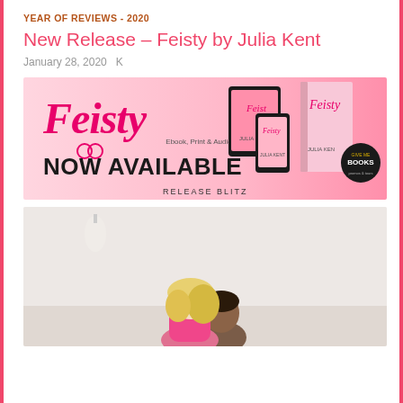YEAR OF REVIEWS - 2020
New Release – Feisty by Julia Kent
January 28, 2020   K
[Figure (illustration): Book release banner for 'Feisty' by Julia Kent. Pink gradient background with 'Feisty' in cursive pink lettering, 'NOW AVAILABLE' in large bold black text, 'Ebook, Print & Audio' in smaller text, 'RELEASE BLITZ' below. Right side shows tablet, phone, and book cover images with 'Give Me Books' badge.]
[Figure (photo): Photo of a couple — a blonde woman in a pink top and a man with dark hair — in an intimate close pose, appearing to kiss or nuzzle, light background.]